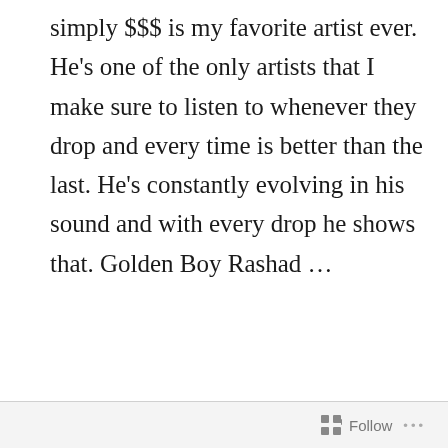simply $$$ is my favorite artist ever. He's one of the only artists that I make sure to listen to whenever they drop and every time is better than the last. He's constantly evolving in his sound and with every drop he shows that. Golden Boy Rashad …
CONTINUE READING
CHRISTIAN SNACKS PATTERSON  |
The Return Of Oreo Cakesters
Follow  ···